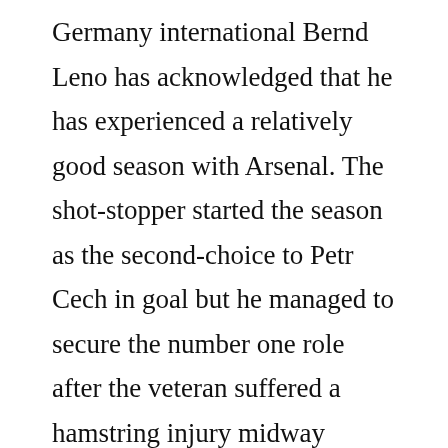Germany international Bernd Leno has acknowledged that he has experienced a relatively good season with Arsenal. The shot-stopper started the season as the second-choice to Petr Cech in goal but he managed to secure the number one role after the veteran suffered a hamstring injury midway through the Premier League game against Watford in October.

Since then, he has racked 23 starts in the English top-flight and most of his